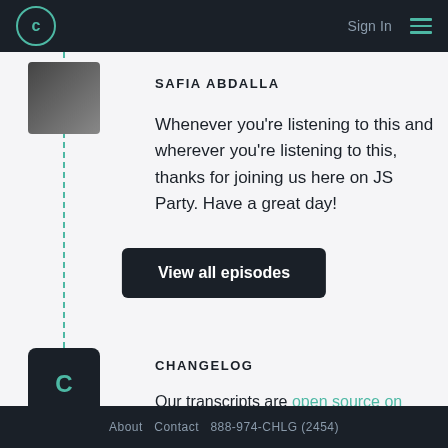Changelog — Sign In
SAFIA ABDALLA
Whenever you're listening to this and wherever you're listening to this, thanks for joining us here on JS Party. Have a great day!
CHANGELOG
Our transcripts are open source on GitHub. Improvements are welcome. 🙏
View all episodes
About   Contact   888-974-CHLG (2454)